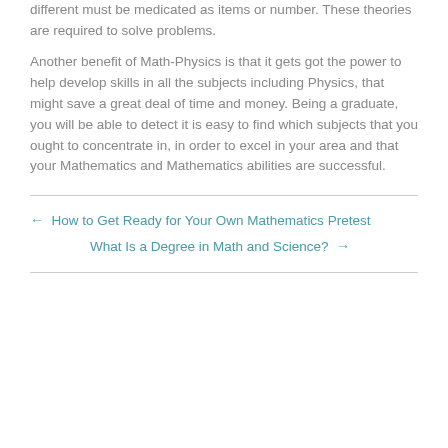different must be medicated as items or number. These theories are required to solve problems.
Another benefit of Math-Physics is that it gets got the power to help develop skills in all the subjects including Physics, that might save a great deal of time and money. Being a graduate, you will be able to detect it is easy to find which subjects that you ought to concentrate in, in order to excel in your area and that your Mathematics and Mathematics abilities are successful.
← How to Get Ready for Your Own Mathematics Pretest
What Is a Degree in Math and Science? →